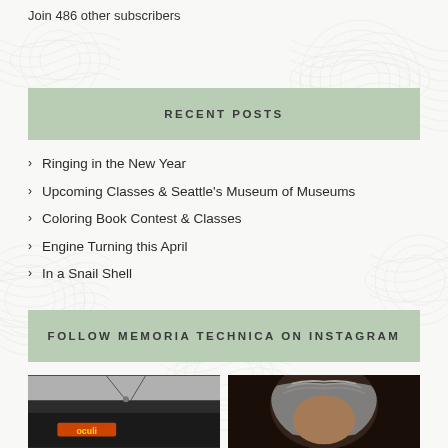Join 486 other subscribers
RECENT POSTS
Ringing in the New Year
Upcoming Classes & Seattle's Museum of Museums
Coloring Book Contest & Classes
Engine Turning this April
In a Snail Shell
FOLLOW MEMORIA TECHNICA ON INSTAGRAM
[Figure (photo): Photo showing a sign with lights above it, dark background, partially visible text]
[Figure (photo): Photo showing a person with gray/white hair, close-up portrait]